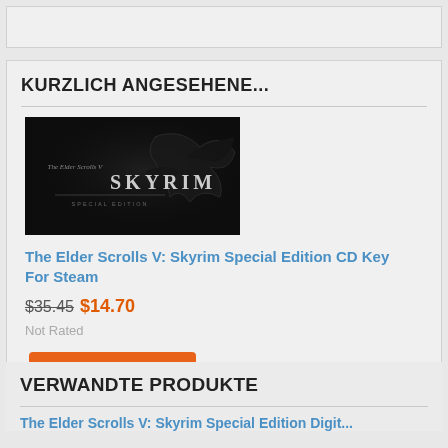KURZLICH ANGESEHENE...
[Figure (screenshot): The Elder Scrolls V: Skyrim game banner image with dark background showing the Skyrim dragon logo and SKYRIM text]
The Elder Scrolls V: Skyrim Special Edition CD Key For Steam
$35.45 $14.70
Not Rated
Mehr Details
VERWANDTE PRODUKTE
The Elder Scrolls V: Skyrim Special Edition Digit...